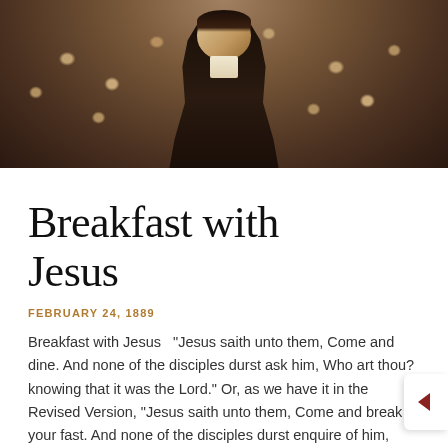[Figure (illustration): Vintage engraving of a man in 19th-century formal attire (dark suit, bow tie) standing in center, surrounded by a crowd of faces in the background. Sepia/brown tones.]
Breakfast with Jesus
FEBRUARY 24, 1889
Breakfast with Jesus  "Jesus saith unto them, Come and dine. And none of the disciples durst ask him, Who art thou? knowing that it was the Lord." Or, as we have it in the Revised Version, "Jesus saith unto them, Come and break your fast. And none of the disciples durst enquire of him, Who art ...